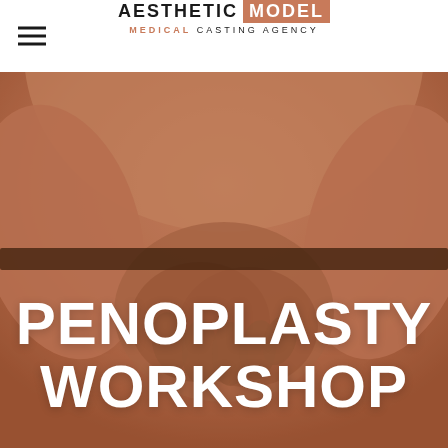AESTHETIC MODEL — MEDICAL CASTING AGENCY
[Figure (photo): Background photo of a person with hands clasped together at the waist, with warm sepia/salmon tone overlay. Large white bold text overlay reads PENOPLASTY WORKSHOP.]
PENOPLASTY WORKSHOP